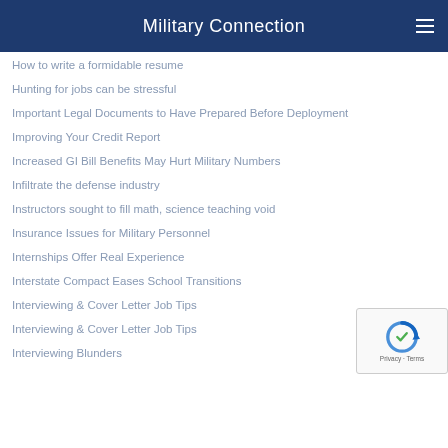Military Connection
How to write a formidable resume
Hunting for jobs can be stressful
Important Legal Documents to Have Prepared Before Deployment
Improving Your Credit Report
Increased GI Bill Benefits May Hurt Military Numbers
Infiltrate the defense industry
Instructors sought to fill math, science teaching void
Insurance Issues for Military Personnel
Internships Offer Real Experience
Interstate Compact Eases School Transitions
Interviewing & Cover Letter Job Tips
Interviewing & Cover Letter Job Tips
Interviewing Blunders